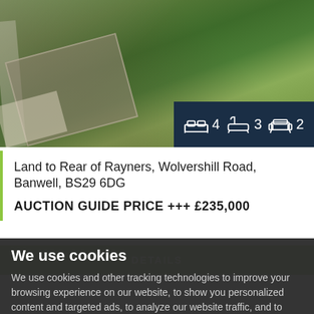[Figure (photo): Aerial view of property land showing garden, greenery, structures and pathways. Dark blue badge overlay showing bedroom (4), bathroom (3), and reception (2) icons.]
Land to Rear of Rayners, Wolvershill Road, Banwell, BS29 6DG
AUCTION GUIDE PRICE +++ £235,000
DETAILS
We use cookies
We use cookies and other tracking technologies to improve your browsing experience on our website, to show you personalized content and targeted ads, to analyze our website traffic, and to understand where our visitors are coming from.